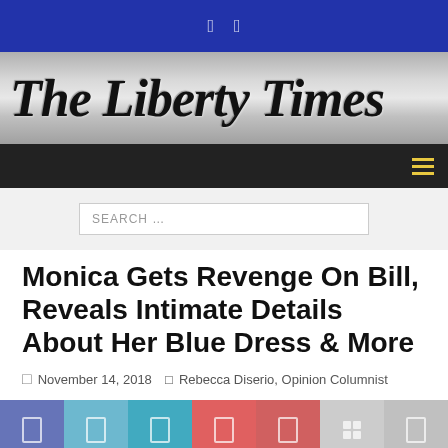The Liberty Times
Monica Gets Revenge On Bill, Reveals Intimate Details About Her Blue Dress & More
November 14, 2018   Rebecca Diserio, Opinion Columnist